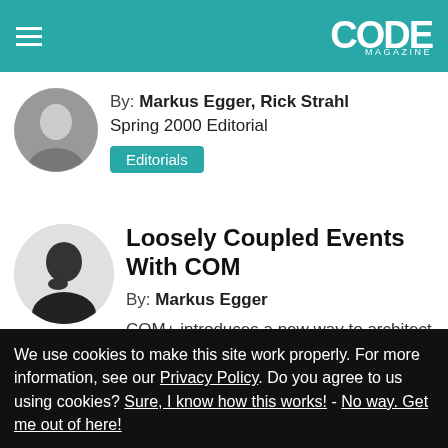CODE MAGAZINE
By: Markus Egger, Rick Strahl
Spring 2000 Editorial
Editorials
Loosely Coupled Events With COM
By: Markus Egger
COM+ introduces a new way to architect and extend applications: The COM+ Event
We use cookies to make this site work properly. For more information, see our Privacy Policy. Do you agree to us using cookies? Sure, I know how this works! - No way. Get me out of here!